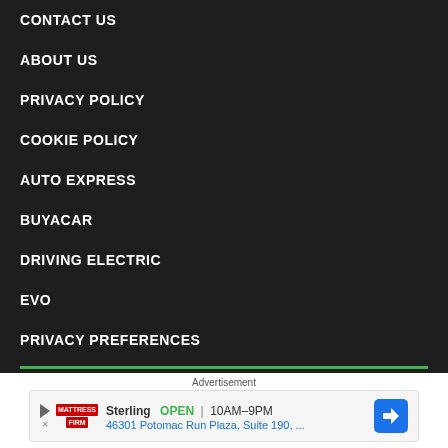CONTACT US
ABOUT US
PRIVACY POLICY
COOKIE POLICY
AUTO EXPRESS
BUYACAR
DRIVING ELECTRIC
EVO
PRIVACY PREFERENCES
carbuyer news & reviews
[Figure (other): Advertisement banner for Mattress Firm - Sterling location, OPEN 10AM-9PM, 46301 Potomac Run Plaza, Suite 190]